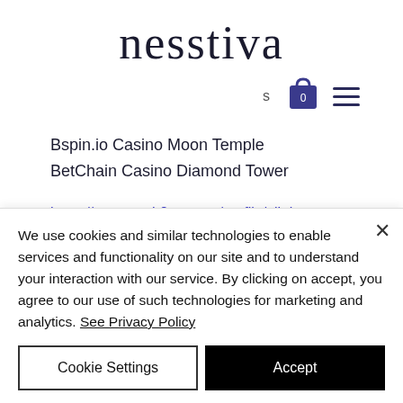nesstiva
Bspin.io Casino Moon Temple
BetChain Casino Diamond Tower
https://www.math2me.com/profile/elitrito2206011/profile
https://www.1shotbranding.com/profile/kathrynkeser16777416/profile
We use cookies and similar technologies to enable services and functionality on our site and to understand your interaction with our service. By clicking on accept, you agree to our use of such technologies for marketing and analytics. See Privacy Policy
Cookie Settings
Accept